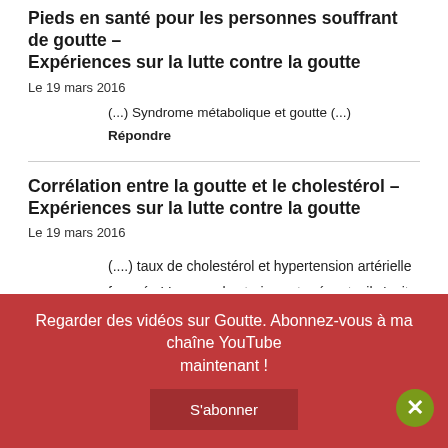Pieds en santé pour les personnes souffrant de goutte – Expériences sur la lutte contre la goutte
Le 19 mars 2016
(...) Syndrome métabolique et goutte (...)
Répondre
Corrélation entre la goutte et le cholestérol – Expériences sur la lutte contre la goutte
Le 19 mars 2016
(....) taux de cholestérol et hypertension artérielle faussés ! Lorsque les trois sont présents, il s'agit du syndrome métabolique, anciennement connu sous le nom de syndrome X. Tout cela entraîne une augmentation du risque de maladies
Regarder des vidéos sur Goutte. Abonnez-vous à ma chaîne YouTube maintenant !
S'abonner